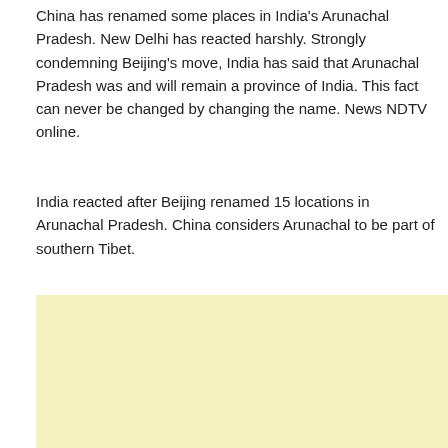China has renamed some places in India's Arunachal Pradesh. New Delhi has reacted harshly. Strongly condemning Beijing's move, India has said that Arunachal Pradesh was and will remain a province of India. This fact can never be changed by changing the name. News NDTV online.
India reacted after Beijing renamed 15 locations in Arunachal Pradesh. China considers Arunachal to be part of southern Tibet.
[Figure (other): Light yellow advertisement placeholder block]